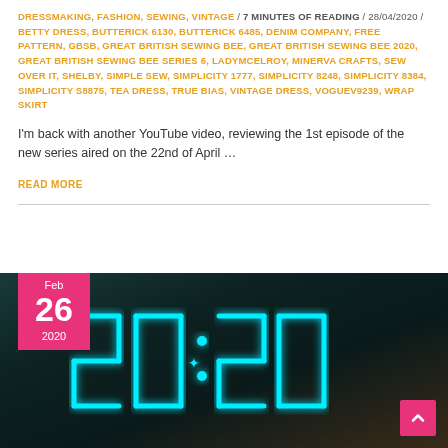DRESSMAKING, FASHION, SEWING, VINTAGE / 7 MINUTES OF READING / 28/04/2020 / BETTY DRESS, BUTTERICK 6130, BUTTERICK 6485, DENIM COMPANY, FREE PATTERN, GBSB, GREAT BRITISH SEWING BEE, GREAT BRITISH SEWING BEE 2020, GREAT BRITISH SEWING BEE SERIES 6, LADYMCELROY, MINERVA CRAFTS, SEW OVER IT, SHELBY, SIMPLE SEW, SIMPLICITY 1777, SIMPLICITY 8248, SIMPLICITY 8384, SIMPLICITY S8875, TEA DRESS, TRUE BIAS, VINTAGE DRESS, VOGUEV9239, WRAP SKIRT
I'm back with another YouTube video, reviewing the 1st episode of the new series aired on the 22nd of April …
READ MORE
[Figure (photo): A digital clock or display showing '2020' in glowing cyan LED digits on a dark background. A pink date badge in the top-left corner shows 'Feb 26 2020'. A pink scroll-to-top button with a caret/arrow icon appears in the bottom-right corner.]